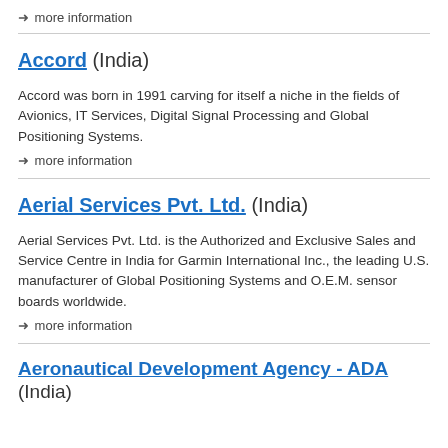→ more information
Accord (India)
Accord was born in 1991 carving for itself a niche in the fields of Avionics, IT Services, Digital Signal Processing and Global Positioning Systems.
→ more information
Aerial Services Pvt. Ltd. (India)
Aerial Services Pvt. Ltd. is the Authorized and Exclusive Sales and Service Centre in India for Garmin International Inc., the leading U.S. manufacturer of Global Positioning Systems and O.E.M. sensor boards worldwide.
→ more information
Aeronautical Development Agency - ADA (India)